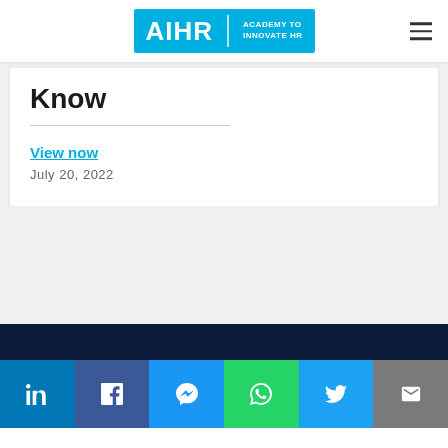AIHR | ACADEMY TO INNOVATE HR
Know
View now
July 20, 2022
LinkedIn, Facebook, Messenger, WhatsApp, Twitter, Email social share bar